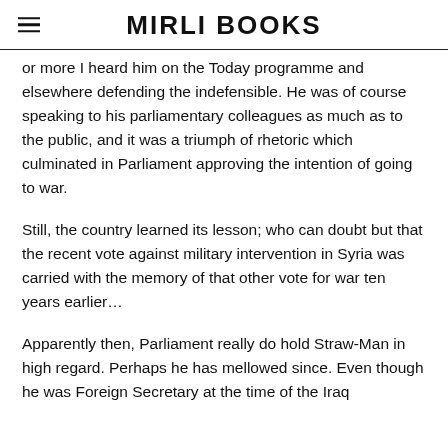MIRLI BOOKS
or more I heard him on the Today programme and elsewhere defending the indefensible. He was of course speaking to his parliamentary colleagues as much as to the public, and it was a triumph of rhetoric which culminated in Parliament approving the intention of going to war.
Still, the country learned its lesson; who can doubt but that the recent vote against military intervention in Syria was carried with the memory of that other vote for war ten years earlier…
Apparently then, Parliament really do hold Straw-Man in high regard. Perhaps he has mellowed since. Even though he was Foreign Secretary at the time of the Iraq